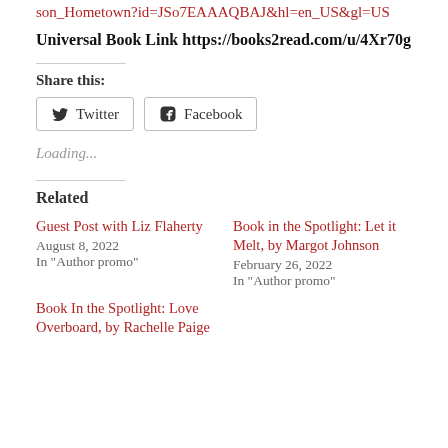son_Hometown?id=JSo7EAAAQBAJ&hl=en_US&gl=US
Universal Book Link https://books2read.com/u/4Xr70g
Share this:
Twitter   Facebook
Loading...
Related
Guest Post with Liz Flaherty
August 8, 2022
In "Author promo"
Book in the Spotlight: Let it Melt, by Margot Johnson
February 26, 2022
In "Author promo"
Book In the Spotlight: Love Overboard, by Rachelle Paige